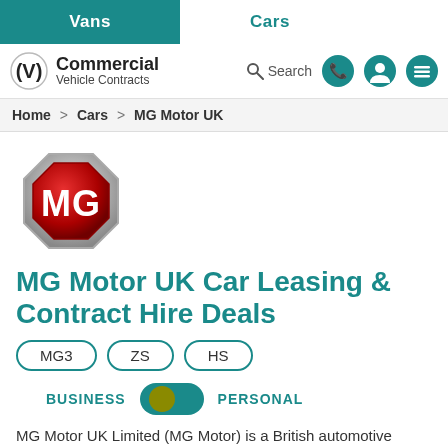Vans | Cars — Commercial Vehicle Contracts | Search
Home > Cars > MG Motor UK
[Figure (logo): MG Motor UK octagonal logo with red background and silver MG lettering]
MG Motor UK Car Leasing & Contract Hire Deals
MG3
ZS
HS
BUSINESS  PERSONAL (toggle switch)
MG Motor UK Limited (MG Motor) is a British automotive company headquartered in Longbridge, Birmingham, England and a subsidiary of